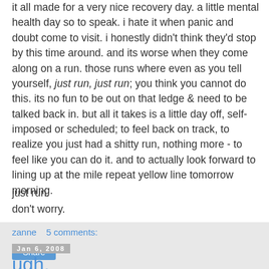it all made for a very nice recovery day. a little mental health day so to speak. i hate it when panic and doubt come to visit. i honestly didn't think they'd stop by this time around. and its worse when they come along on a run. those runs where even as you tell yourself, just run, just run; you think you cannot do this. its no fun to be out on that ledge & need to be talked back in. but all it takes is a little day off, self-imposed or scheduled; to feel back on track, to realize you just had a shitty run, nothing more - to feel like you can do it. and to actually look forward to lining up at the mile repeat yellow line tomorrow morning.
just run.
don't worry.
zanne   5 comments:
Share
Jan 6, 2008
ugh.